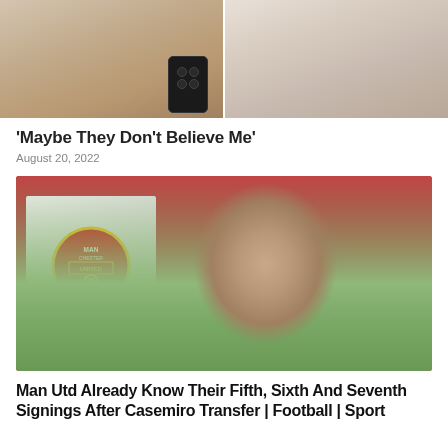[Figure (photo): Two women side by side, left one holding a phone with visible camera lenses]
‘Maybe They Don’t Believe Me’
August 20, 2022
[Figure (photo): Casemiro in green training kit holding a Manchester United flag/banner at Old Trafford]
Man Utd Already Know Their Fifth, Sixth And Seventh Signings After Casemiro Transfer | Football | Sport